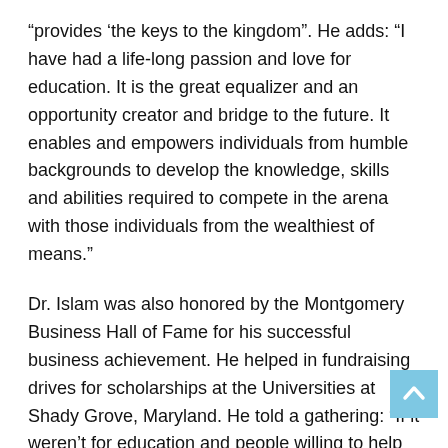“provides ‘the keys to the kingdom”. He adds: “I have had a life-long passion and love for education. It is the great equalizer and an opportunity creator and bridge to the future. It enables and empowers individuals from humble backgrounds to develop the knowledge, skills and abilities required to compete in the arena with those individuals from the wealthiest of means.”
Dr. Islam was also honored by the Montgomery Business Hall of Fame for his successful business achievement. He helped in fundraising drives for scholarships at the Universities at Shady Grove, Maryland. He told a gathering: “If it weren’t for education and people willing to help me when I came to this country as a very young man, I would not be where I am today. I know first-hand that education helps people reach their potentials, get good jobs and make their communities stronger.”